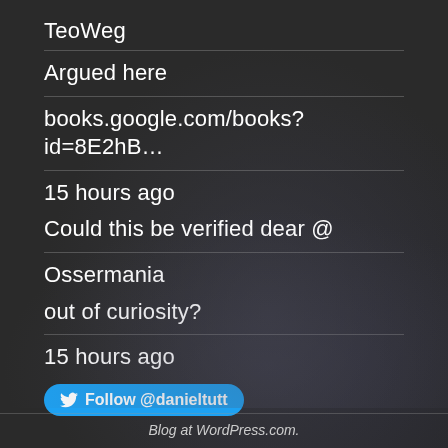TeoWeg
Argued here
books.google.com/books?id=8E2hB…
15 hours ago
Could this be verified dear @
Ossermania
out of curiosity?
15 hours ago
Follow @danieltutt
Blog at WordPress.com.